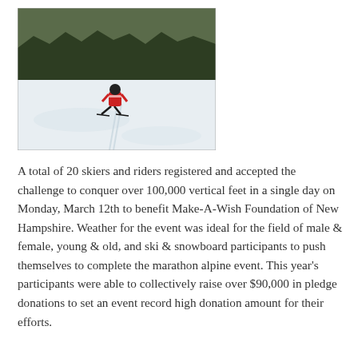[Figure (photo): A skier in a red jacket and black pants skiing down a snow-covered slope with a dense line of evergreen trees on a steep mountain ridge in the background.]
A total of 20 skiers and riders registered and accepted the challenge to conquer over 100,000 vertical feet in a single day on Monday, March 12th to benefit Make-A-Wish Foundation of New Hampshire. Weather for the event was ideal for the field of male & female, young & old, and ski & snowboard participants to push themselves to complete the marathon alpine event. This year's participants were able to collectively raise over $90,000 in pledge donations to set an event record high donation amount for their efforts.